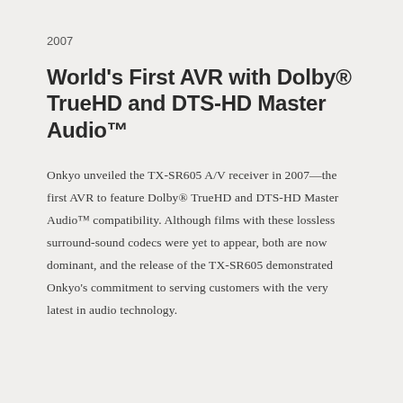2007
World's First AVR with Dolby® TrueHD and DTS-HD Master Audio™
Onkyo unveiled the TX-SR605 A/V receiver in 2007—the first AVR to feature Dolby® TrueHD and DTS-HD Master Audio™ compatibility. Although films with these lossless surround-sound codecs were yet to appear, both are now dominant, and the release of the TX-SR605 demonstrated Onkyo's commitment to serving customers with the very latest in audio technology.